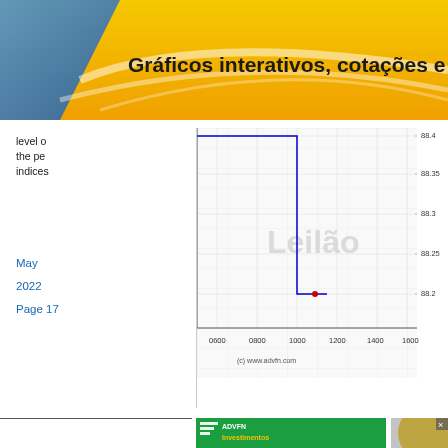Gráficos interativos, cotações e ferram
level o... the pe... indices
[Figure (continuous-plot): Intraday price chart showing a step-down pattern around 1000 time mark. Y-axis ranges from 88.2 to 88.4+. X-axis shows times 0600, 0800, 1000, 1200, 1400, 1600. Watermark text 'Leilão' in gray center. Blue line descends sharply at ~1000. Red dot at bottom ~(1050, 88.2). Caption: (c) www.advfn.com]
May 2022 Page 17
[Figure (infographic): ADVFN Investimentos advertisement banner in green and yellow. Logo with green stripes, text: ADVFN Investimentos. Negocie na Bolsa com SEGURANÇA e PRECISÃO, gerando os melhores rendimentos. INSCRIÇÃO button partially visible. Photo of person writing on charts.]